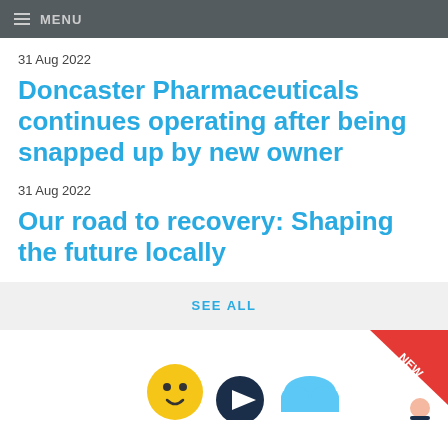MENU
31 Aug 2022
Doncaster Pharmaceuticals continues operating after being snapped up by new owner
31 Aug 2022
Our road to recovery: Shaping the future locally
SEE ALL
[Figure (illustration): Partial view of an illustration showing cartoon figures with icons including a play button, cloud, and a 'NEW' badge triangle in red.]